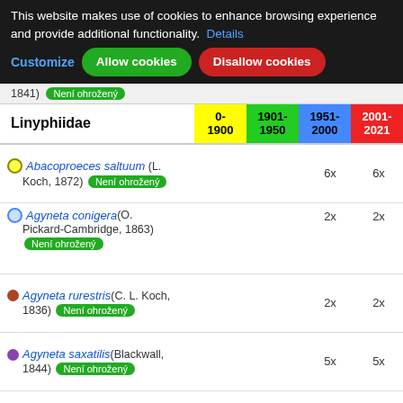This website makes use of cookies to enhance browsing experience and provide additional functionality. Details
Customize | Allow cookies | Disallow cookies
1841) Není ohrožený
| Linyphiidae | 0-1900 | 1901-1950 | 1951-2000 | 2001-2021 |
| --- | --- | --- | --- | --- |
| Abacoproeces saltuum (L. Koch, 1872) Není ohrožený |  |  | 6x | 6x |
| Agyneta conigera (O. Pickard-Cambridge, 1863) Není ohrožený |  |  | 2x | 2x |
| Agyneta rurestris (C. L. Koch, 1836) Není ohrožený |  |  | 2x | 2x |
| Agyneta saxatilis (Blackwall, 1844) Není ohrožený |  |  | 5x | 5x |
| Anguliphantes angulipalpis (Westring, 1851) Téměř ohrožený |  |  | 4x | 4x |
| Anguliphantes tripartitus (Miller & Svatoň, 1978) |  |  | 3x | 3x |